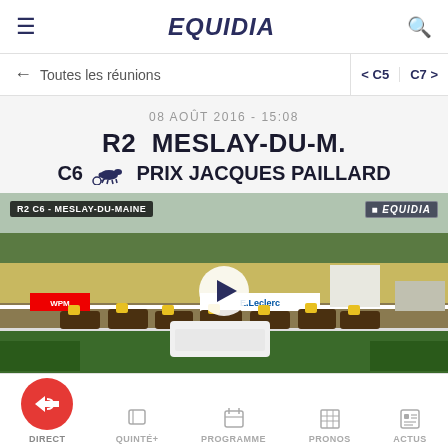EQUIDIA
← Toutes les réunions
< C5  C7 >
08 AOÛT 2016 - 15:08
R2  MESLAY-DU-M.
C6 🐎 PRIX JACQUES PAILLARD
[Figure (screenshot): Horse racing video thumbnail showing harness racing at Meslay-du-Maine racecourse with horses and sulkies lined up at the start. Overlay labels show R2 C6 - MESLAY-DU-MAINE and EQUIDIA logo. Play button visible in center.]
DIRECT  QUINTÉ+  PROGRAMME  PRONOS  ACTUS